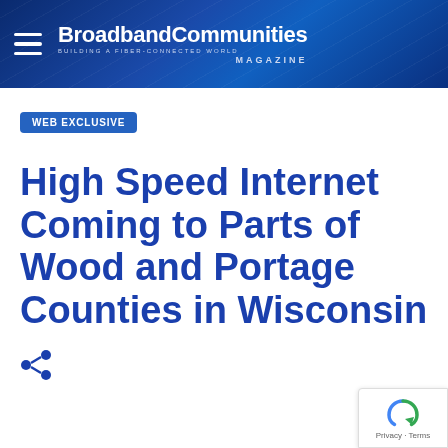BroadbandCommunities Magazine — Building a Fiber-Connected World
WEB EXCLUSIVE
High Speed Internet Coming to Parts of Wood and Portage Counties in Wisconsin